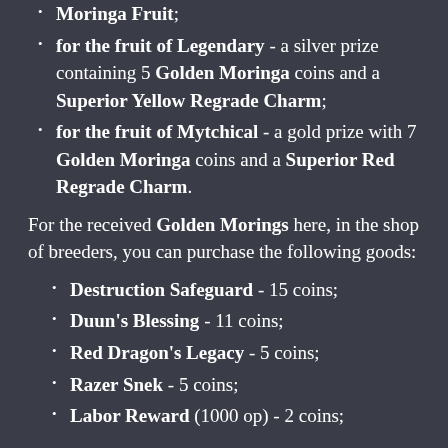Moringa Fruit;
for the fruit of Legendary - a silver prize containing 5 Golden Moringa coins and a Superior Yellow Regrade Charm;
for the fruit of Mytchical - a gold prize with 7 Golden Moringa coins and a Superior Red Regrade Charm.
For the received Golden Morings here, in the shop of breeders, you can purchase the following goods:
Destruction Safeguard - 15 coins;
Duun's Blessing - 11 coins;
Red Dragon's Legacy - 5 coins;
Razer Snek - 5 coins;
Labor Reward (1000 op) - 2 coins;